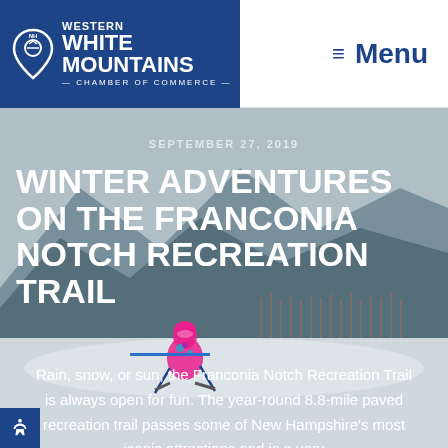[Figure (logo): Western White Mountains Chamber of Commerce logo with pin/location icon on blue background]
≡ Menu
[Figure (photo): Child skiing in pink snowsuit on a snowy slope with mountain and winter landscape background]
SEPTEMBER 27, 2019
WINTER ADVENTURES ON THE FRANCONIA NOTCH RECREATION TRAIL
Rain, snow, or sun, the Franconia Notch Recreation Trail is always open for fun. The year-round 8.8-mile paved recreation trail passes some of New Hampshire's most iconic attractions and is a very